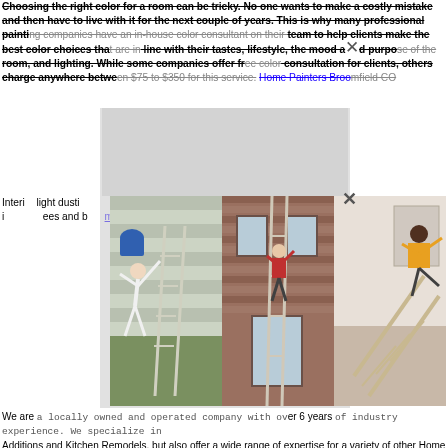Choosing the right color for a room can be tricky. No one wants to make a costly mistake and then have to live with it for the next couple of years. This is why many professional painting companies have an in-house color consultant on their team to help clients make the best color choices that are in line with their tastes, lifestyle, the mood and purpose of the room, and lighting. While some companies offer free color consultation for clients, others charge anywhere between $75 to $350 for this service. Home Painters Broomfield CO
[Figure (photo): Three side-by-side photos of people falling off or jumping from ladders near houses]
Interior ... light dusting ... Address ... as possible ... paint. If you ... want to inspect ... damage ... should also inspect ... trees and b... Home Painters...
We are a locally owned and operated company with over 6 years of industry experience. We specialize in Additions and Kitchen Remodels, but also offer a wide range of expertise for a variety of other Home Improvement projects side, and no matter the quality